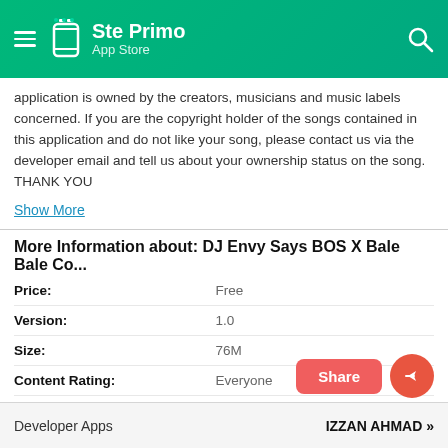Ste Primo App Store
application is owned by the creators, musicians and music labels concerned. If you are the copyright holder of the songs contained in this application and do not like your song, please contact us via the developer email and tell us about your ownership status on the song. THANK YOU
Show More
More Information about: DJ Envy Says BOS X Bale Bale Co...
| Field | Value |
| --- | --- |
| Price: | Free |
| Version: | 1.0 |
| Size: | 76M |
| Content Rating: | Everyone |
| Developer: | IZZAN AHMAD |
Developer Apps    IZZAN AHMAD »